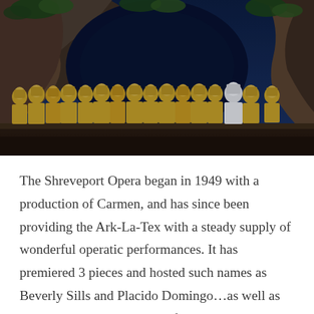[Figure (photo): Opera stage performance showing approximately 16 performers in golden/yellow robes and head coverings standing on stage in front of a dramatic rocky cave-like backdrop with blue lighting. One performer is in white robes on the right side.]
The Shreveport Opera began in 1949 with a production of Carmen, and has since been providing the Ark-La-Tex with a steady supply of wonderful operatic performances. It has premiered 3 pieces and hosted such names as Beverly Sills and Placido Domingo…as well as helping launch the careers of Renee Fleming and Greer Grimsly. As an added bonus to it's regular repertoire, Shreveport Opera created a